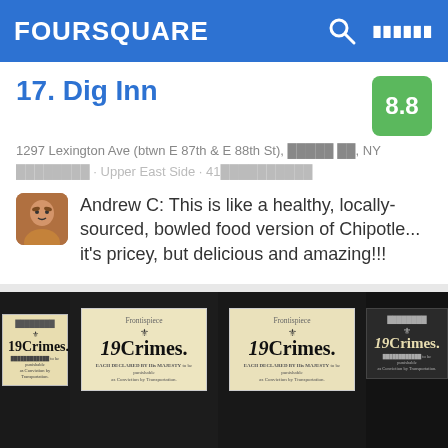FOURSQUARE
17. Dig Inn
1297 Lexington Ave (btwn E 87th & E 88th St), ██████ ██, NY
████████ · Upper East Side · 41██████████
Andrew C: This is like a healthy, locally-sourced, bowled food version of Chipotle... it's pricey, but delicious and amazing!!!
[Figure (photo): Three bottles of 19 Crimes wine displayed against dark background, showing wine labels with crest and text]